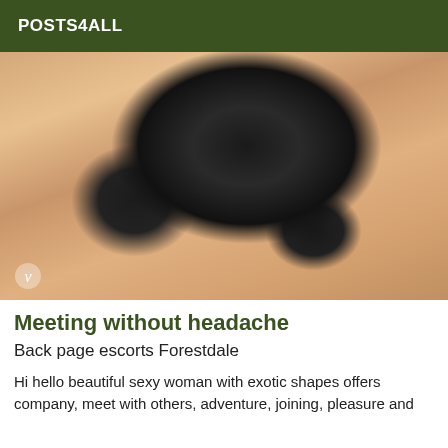POSTS4ALL
[Figure (photo): Close-up photo of a person in black lace lingerie, cropped torso view with a watermark 'v' logo in the lower left corner]
Meeting without headache
Back page escorts Forestdale
Hi hello beautiful sexy woman with exotic shapes offers company, meet with others, adventure, joining, pleasure and